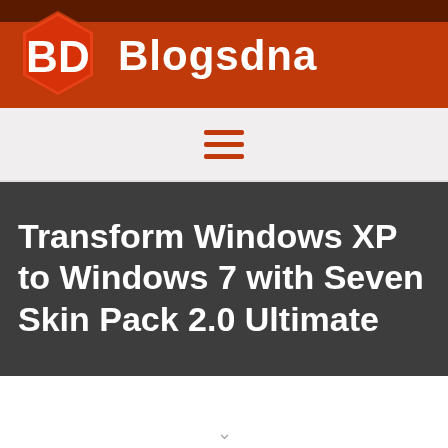[Figure (logo): Blogsdna website header with hexagonal BD logo and site name in white on red/orange background]
[Figure (other): Navigation bar with hamburger menu icon (three horizontal lines) in red/orange on light gray background]
Transform Windows XP to Windows 7 with Seven Skin Pack 2.0 Ultimate